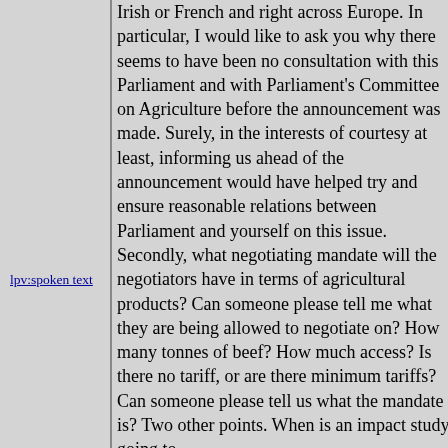Irish or French and right across Europe. In particular, I would like to ask you why there seems to have been no consultation with this Parliament and with Parliament's Committee on Agriculture before the announcement was made. Surely, in the interests of courtesy at least, informing us ahead of the announcement would have helped try and ensure reasonable relations between Parliament and yourself on this issue. Secondly, what negotiating mandate will the negotiators have in terms of agricultural products? Can someone please tell me what they are being allowed to negotiate on? How many tonnes of beef? How much access? Is there no tariff, or are there minimum tariffs? Can someone please tell us what the mandate is? Two other points. When is an impact study going to
lpv:spoken text